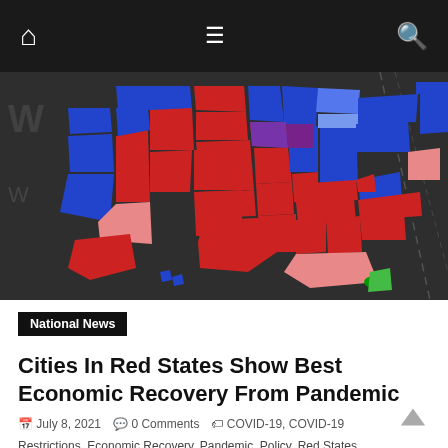Navigation bar with home, menu, and search icons
[Figure (map): Colored US political map showing states colored in red, blue, purple, pink, and green, displayed on a dark 3D globe-like surface]
National News
Cities In Red States Show Best Economic Recovery From Pandemic
July 8, 2021  0 Comments  COVID-19, COVID-19 Restrictions, Economic Recovery, Pandemic, Policy, Red States, Republicans, Unemployment, unemployment rates, wallethub